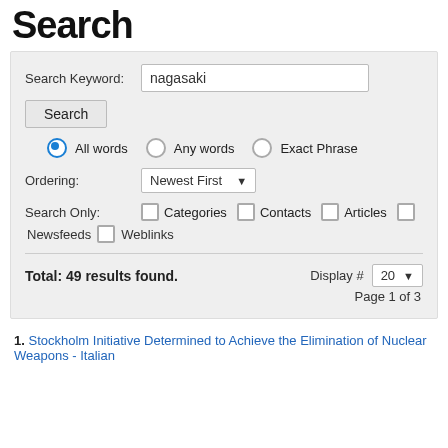Search
Search Keyword: nagasaki
All words  Any words  Exact Phrase
Ordering: Newest First
Search Only: Categories  Contacts  Articles  Newsfeeds  Weblinks
Total: 49 results found.  Display # 20  Page 1 of 3
1. Stockholm Initiative Determined to Achieve the Elimination of Nuclear Weapons - Italian